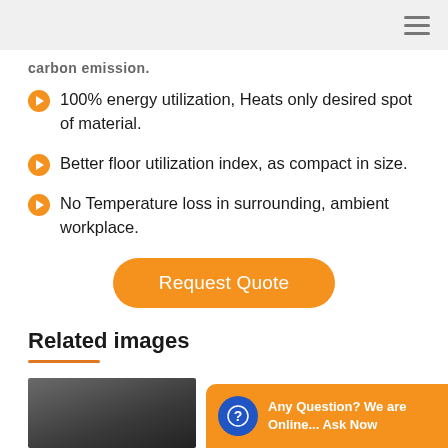carbon emission.
100% energy utilization, Heats only desired spot of material.
Better floor utilization index, as compact in size.
No Temperature loss in surrounding, ambient workplace.
[Figure (other): Orange rounded button labeled 'Request Quote']
Related images
[Figure (photo): Partial thumbnail photo of industrial equipment]
[Figure (other): Orange chat widget: 'Any Question? We are Online... Ask Now' with blue chat icon]